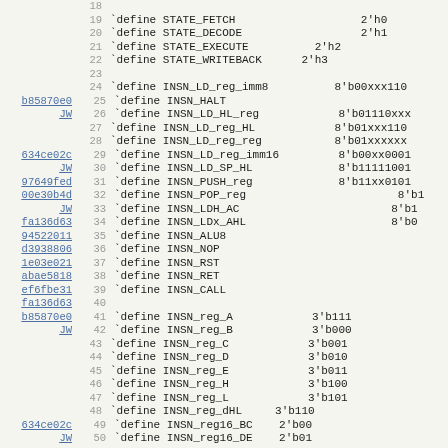Source code listing: Verilog define macros for processor states and instruction encodings, lines 18-50
18  (blank)
19  `define STATE_FETCH   2'h0
20  `define STATE_DECODE  2'h1
21  `define STATE_EXECUTE  2'h2
22  `define STATE_WRITEBACK  2'h3
23  (blank)
24  `define INSN_LD_reg_imm8  8'b00xxx110
b85870e0 JW  25  `define INSN_HALT
26  `define INSN_LD_HL_reg  8'b01110xxx
27  `define INSN_LD_reg_HL  8'b01xxx110
28  `define INSN_LD_reg_reg  8'b01xxxxxx
634ce02c JW  29  `define INSN_LD_reg_imm16  8'b00xx0001
30  `define INSN_LD_SP_HL  8'b11111001
97649fed  31  `define INSN_PUSH_reg  8'b11xx0101
00e30b4d  32  `define INSN_POP_reg  8'b1
JW  33  `define INSN_LDH_AC  8'b1
fa136d63  34  `define INSN_LDx_AHL  8'b0
94522011  35  `define INSN_ALU8
d3938806  36  `define INSN_NOP
1e03e021  37  `define INSN_RST
abae5818  38  `define INSN_RET
ef6fbe31  39  `define INSN_CALL
fa136d63  40  (blank)
b85870e0 JW  41  `define INSN_reg_A  3'b111
42  `define INSN_reg_B  3'b000
43  `define INSN_reg_C  3'b001
44  `define INSN_reg_D  3'b010
45  `define INSN_reg_E  3'b011
46  `define INSN_reg_H  3'b100
47  `define INSN_reg_L  3'b101
48  `define INSN_reg_dHL  3'b110
634ce02c  49  `define INSN_reg16_BC  2'b00
JW  50  `define INSN_reg16_DE  2'b01